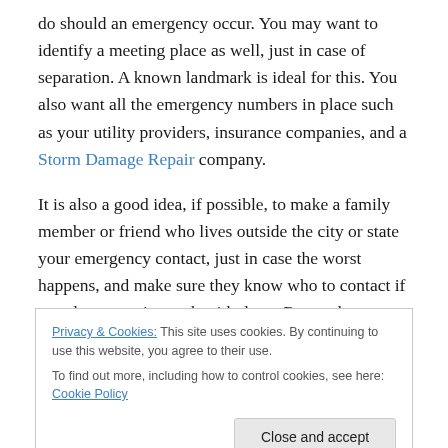do should an emergency occur. You may want to identify a meeting place as well, just in case of separation. A known landmark is ideal for this. You also want all the emergency numbers in place such as your utility providers, insurance companies, and a Storm Damage Repair company.
It is also a good idea, if possible, to make a family member or friend who lives outside the city or state your emergency contact, just in case the worst happens, and make sure they know who to contact if you do not get in touch with them. Remember to give them a call or send
Privacy & Cookies: This site uses cookies. By continuing to use this website, you agree to their use.
To find out more, including how to control cookies, see here: Cookie Policy
It is important to stay away from any exterior doors